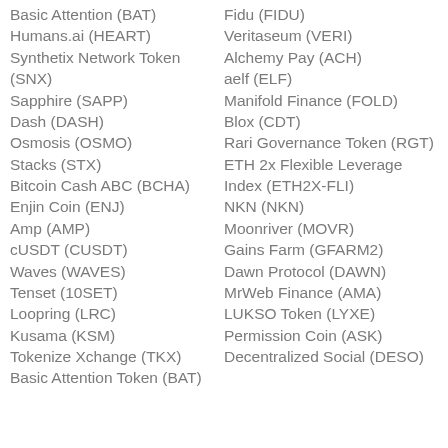Basic Attention (BAT)
Fidu (FIDU)
Humans.ai (HEART)
Veritaseum (VERI)
Synthetix Network Token (SNX)
Alchemy Pay (ACH)
aelf (ELF)
Sapphire (SAPP)
Manifold Finance (FOLD)
Dash (DASH)
Blox (CDT)
Osmosis (OSMO)
Rari Governance Token (RGT)
Stacks (STX)
ETH 2x Flexible Leverage Index (ETH2X-FLI)
Bitcoin Cash ABC (BCHA)
Enjin Coin (ENJ)
NKN (NKN)
Amp (AMP)
Moonriver (MOVR)
cUSDT (CUSDT)
Gains Farm (GFARM2)
Waves (WAVES)
Dawn Protocol (DAWN)
Tenset (10SET)
MrWeb Finance (AMA)
Loopring (LRC)
LUKSO Token (LYXE)
Kusama (KSM)
Permission Coin (ASK)
Tokenize Xchange (TKX)
Decentralized Social (DESO)
Basic Attention Token (BAT)